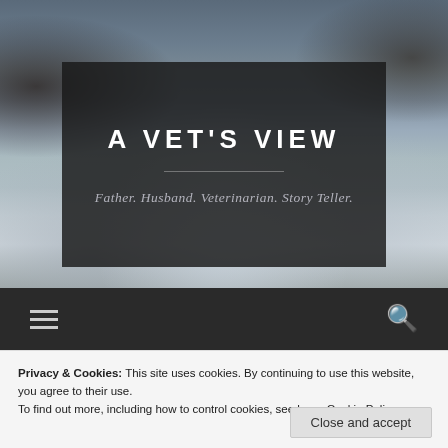[Figure (photo): Winter river scene with snow-covered rocks, bare trees, and flowing water in the background]
A VET'S VIEW
Father. Husband. Veterinarian. Story Teller.
[Figure (screenshot): Navigation bar with hamburger menu icon on the left and search icon on the right, dark background]
Privacy & Cookies: This site uses cookies. By continuing to use this website, you agree to their use.
To find out more, including how to control cookies, see here: Cookie Policy
Close and accept